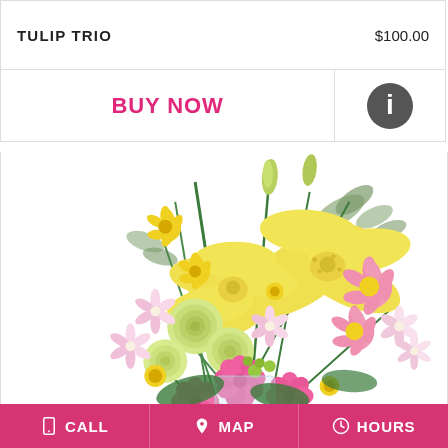TULIP TRIO   $100.00
BUY NOW
[Figure (photo): Floral arrangement with yellow lilies, pink daisies, green roses, pink carnations, white alstroemeria, yellow button flowers, and eucalyptus in a clear glass vase on white background.]
CALL   MAP   HOURS